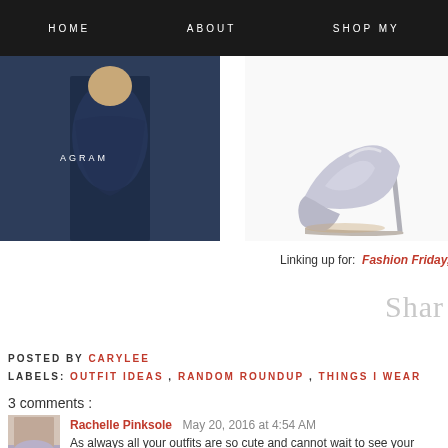HOME   ABOUT   SHOP MY
[Figure (photo): Photo of a person wearing a blue top with AGRAM text overlay, fashion blog style]
[Figure (photo): Silver high heel shoe on white background]
Linking up for:  Fashion Friday,
Shar
POSTED BY CARYLEE
LABELS: OUTFIT IDEAS , RANDOM ROUNDUP , THINGS I WEAR
3 comments :
Rachelle Pinksole  May 20, 2016 at 4:54 AM
As always all your outfits are so cute and cannot wait to see your